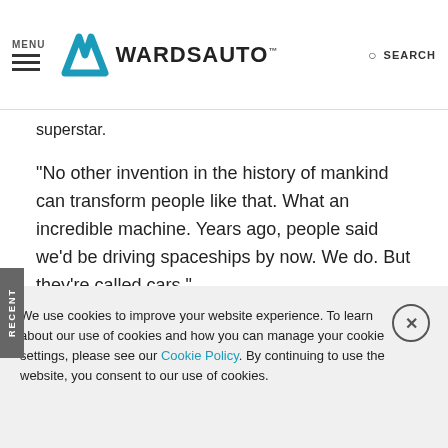MENU | WARDSAUTO | SEARCH
superstar.
“No other invention in the history of mankind can transform people like that. What an incredible machine. Years ago, people said we’d be driving spaceships by now. We do. But they’re called cars.”
He’s just warming up.
What do you want when you’re young? A car. What do you
We use cookies to improve your website experience. To learn about our use of cookies and how you can manage your cookie settings, please see our Cookie Policy. By continuing to use the website, you consent to our use of cookies.